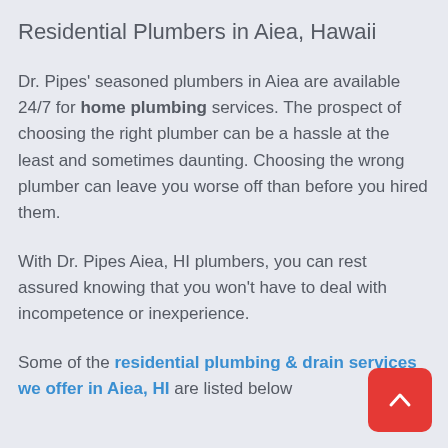Residential Plumbers in Aiea, Hawaii
Dr. Pipes' seasoned plumbers in Aiea are available 24/7 for home plumbing services. The prospect of choosing the right plumber can be a hassle at the least and sometimes daunting. Choosing the wrong plumber can leave you worse off than before you hired them.
With Dr. Pipes Aiea, HI plumbers, you can rest assured knowing that you won't have to deal with incompetence or inexperience.
Some of the residential plumbing & drain services we offer in Aiea, HI are listed below